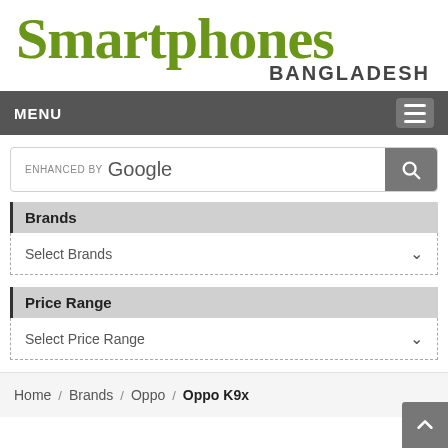Smartphones BANGLADESH
MENU
[Figure (screenshot): Search bar with 'ENHANCED BY Google' text and search button]
Brands
Select Brands
Price Range
Select Price Range
Home / Brands / Oppo / Oppo K9x